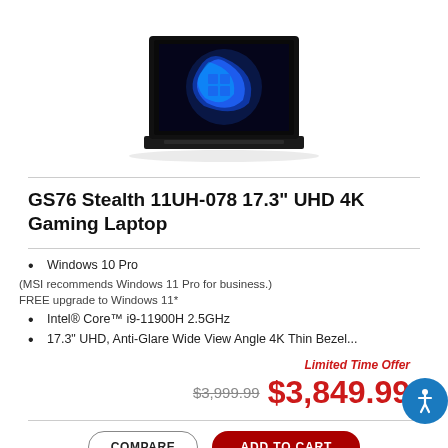[Figure (photo): MSI GS76 Stealth gaming laptop open, showing Windows 11 on screen, black chassis]
GS76 Stealth 11UH-078 17.3" UHD 4K Gaming Laptop
Windows 10 Pro
(MSI recommends Windows 11 Pro for business.)
FREE upgrade to Windows 11*
Intel® Core™ i9-11900H 2.5GHz
17.3" UHD, Anti-Glare Wide View Angle 4K Thin Bezel...
Limited Time Offer
$3,999.99  $3,849.99